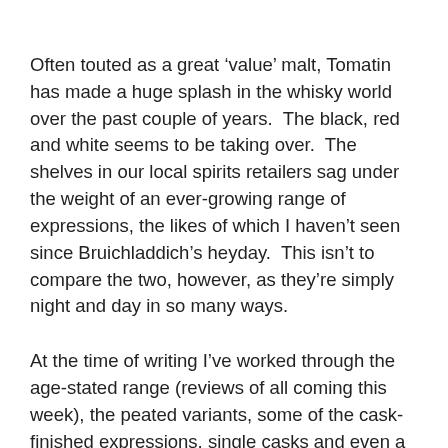Often touted as a great ‘value’ malt, Tomatin has made a huge splash in the whisky world over the past couple of years.  The black, red and white seems to be taking over.  The shelves in our local spirits retailers sag under the weight of an ever-growing range of expressions, the likes of which I haven’t seen since Bruichladdich’s heyday.  This isn’t to compare the two, however, as they’re simply night and day in so many ways.
At the time of writing I’ve worked through the age-stated range (reviews of all coming this week), the peated variants, some of the cask-finished expressions, single casks and even a raw cask sample, and I hate to admit it, but until you hit the quarter century mark, this brand is just not very exciting.  Not only that, it has some rather overt blemishes.  Poor spirit cut may be what is giving those solventy notes, I’d guess.  That